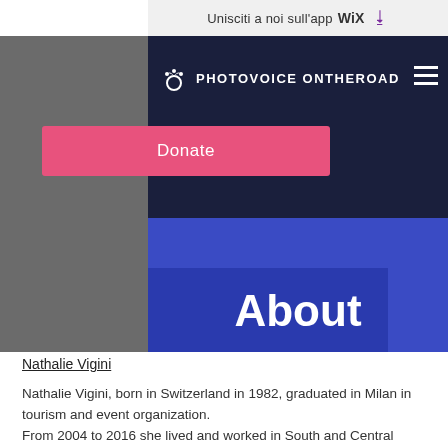Unisciti a noi sull’app WiX
[Figure (screenshot): Website navigation header with dark navy background showing PHOTOVOICE ONTHEROAD logo and hamburger menu icon, overlapping a grey sidebar. A pink Donate button is shown below the nav.]
About
Nathalie Vigini
Nathalie Vigini, born in Switzerland in 1982, graduated in Milan in tourism and event organization.
From 2004 to 2016 she lived and worked in South and Central America